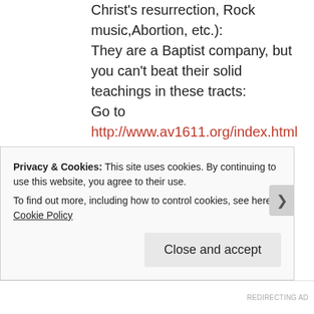Christ's resurrection, Rock music,Abortion, etc.):
They are a Baptist company, but you can't beat their solid teachings in these tracts:
Go to http://www.av1611.org/index.html or look for “Dial the Truth Ministries” in the Google search box.
The reason why they’re called “Dial the Truth” is because you can call up and receive a pre-recorded message about salvation
Privacy & Cookies: This site uses cookies. By continuing to use this website, you agree to their use.
To find out more, including how to control cookies, see here: Cookie Policy
Close and accept
REDIRECTING AD